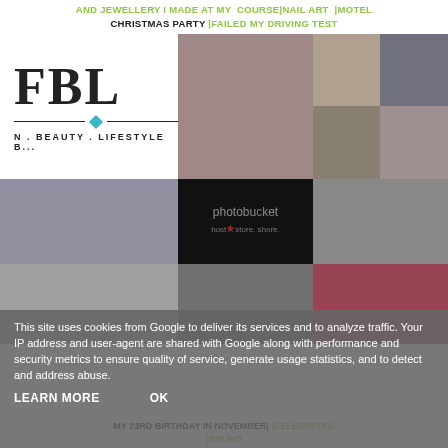AND JEWELLERY I MADE AT MY COURSE|NAIL ART |MOTEL CHRISTMAS PARTY |FAILED MY DRIVING TEST
[Figure (photo): Blog header with FBL logo (Fashion Beauty Lifestyle Blog) and collage of personal photos showing women at events, parties and social gatherings. Middle section has a Photobucket placeholder watermark.]
This site uses cookies from Google to deliver its services and to analyze traffic. Your IP address and user-agent are shared with Google along with performance and security metrics to ensure quality of service, generate usage statistics, and to detect and address abuse.
LEARN MORE   OK
|CELEBRATED MY 23RD BIRTHDAY IN NOVEMBER| |BRUNO